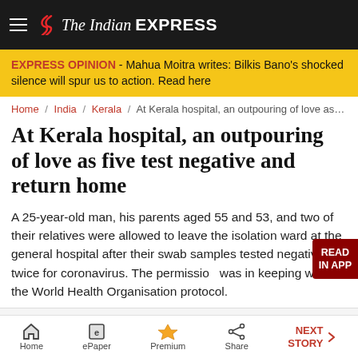The Indian EXPRESS
EXPRESS OPINION - Mahua Moitra writes: Bilkis Bano's shocked silence will spur us to action. Read here
Home / India / Kerala / At Kerala hospital, an outpouring of love as fiv
At Kerala hospital, an outpouring of love as five test negative and return home
A 25-year-old man, his parents aged 55 and 53, and two of their relatives were allowed to leave the isolation ward at the general hospital after their swab samples tested negative twice for coronavirus. The permission was in keeping with the World Health Organisation protocol.
Home   ePaper   Premium   Share   NEXT STORY